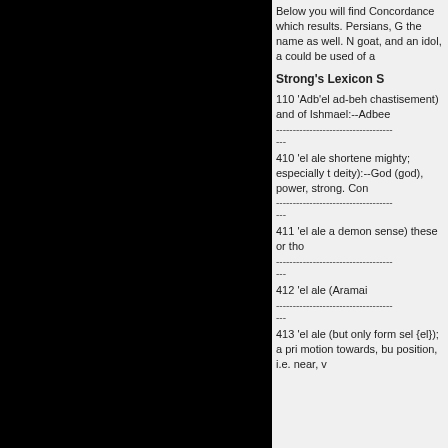[Figure (photo): Large black rectangular panel occupying the left portion of the page]
Below you will find Concordance which results. Persians, G the name as well. N goat, and an idol, a could be used of a
Strong's Lexicon S
110 'Adb'el ad-beh chastisement) and of Ishmael:--Adbee
-----------------------------------
---
410 'el ale shortene mighty; especially t deity):--God (god), power, strong. Con
-----------------------------------
---
411 'el ale a demon sense) these or tho
-----------------------------------
---
412 'el ale (Aramai
-----------------------------------
---
413 'el ale (but only form sel {el}); a pri motion towards, bu position, i.e. near, v